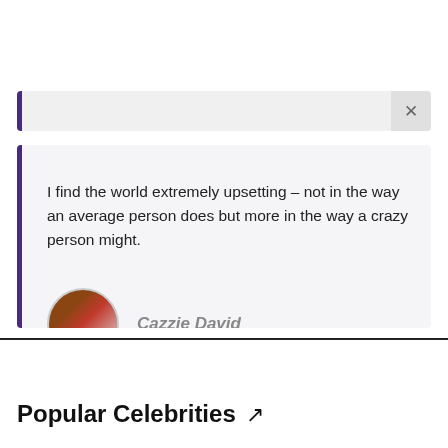I find the world extremely upsetting – not in the way an average person does but more in the way a crazy person might.
Cazzie David
Popular Celebrities